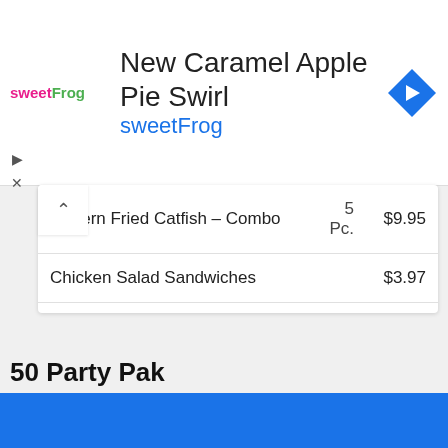[Figure (other): sweetFrog advertisement banner with logo, 'New Caramel Apple Pie Swirl' headline, sweetFrog brand name in teal, and blue navigation arrow icon]
| Item | Qty | Price |
| --- | --- | --- |
| …thern Fried Catfish – Combo | 5 Pc. | $9.95 |
| Chicken Salad Sandwiches |  | $3.97 |
| Chicken Salad Sandwiches – Combo |  | $5.98 |
| Tender Sandwich |  | $3.97 |
| Tender Sandwich – Combo |  | $5.98 |
| Golden Roast | 2 Pc. | $6.49 |
| Golden Roast | 3 Pc. | $7.38 |
50 Party Pak